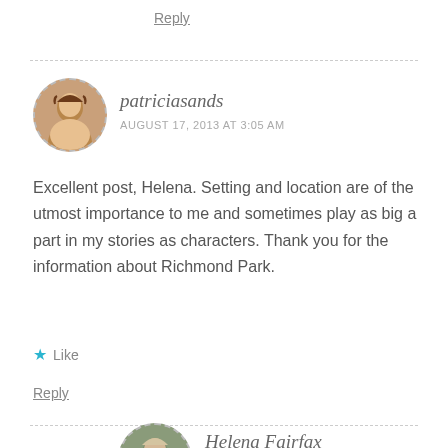Reply
patriciasands
AUGUST 17, 2013 AT 3:05 AM
Excellent post, Helena. Setting and location are of the utmost importance to me and sometimes play as big a part in my stories as characters. Thank you for the information about Richmond Park.
★ Like
Reply
Helena Fairfax
AUGUST 17, 2013 AT 9:25 AM